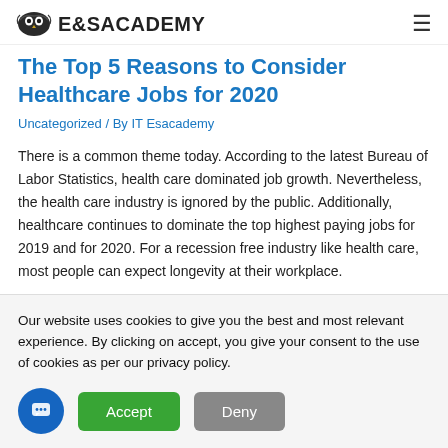E&SACADEMY
The Top 5 Reasons to Consider Healthcare Jobs for 2020
Uncategorized / By IT Esacademy
There is a common theme today. According to the latest Bureau of Labor Statistics, health care dominated job growth. Nevertheless, the health care industry is ignored by the public. Additionally, healthcare continues to dominate the top highest paying jobs for 2019 and for 2020. For a recession free industry like health care, most people can expect longevity at their workplace.
Our website uses cookies to give you the best and most relevant experience. By clicking on accept, you give your consent to the use of cookies as per our privacy policy.